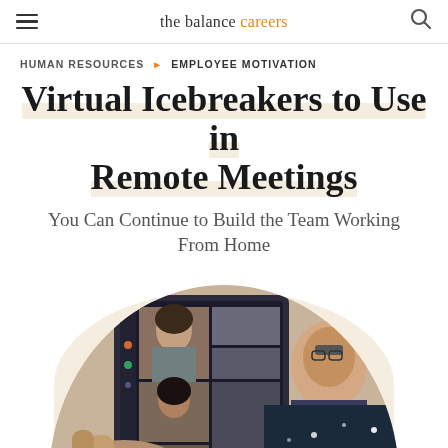the balance careers
HUMAN RESOURCES > EMPLOYEE MOTIVATION
Virtual Icebreakers to Use in Remote Meetings
You Can Continue to Build the Team Working From Home
[Figure (photo): Photo of a person holding a tablet/phone showing a video conference call with multiple participants, with a man smiling in the background. Image is clipped in a half-circle shape on a warm beige background.]